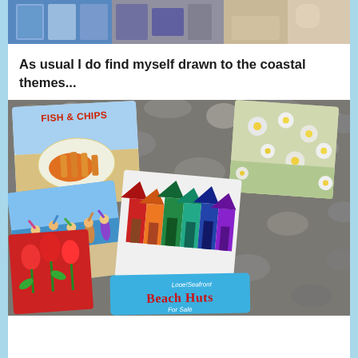[Figure (photo): Top portion of a photo showing colorful art prints/cards displayed at what appears to be an outdoor market stall, with chairs and paving visible in background]
As usual I do find myself drawn to the coastal themes...
[Figure (photo): A collection of coastal-themed greeting cards or prints laid out on a bed of pebbles/stones. Cards include: Fish & Chips card with fish and chips illustration, a daisies floral card, a children playing at the beach card, colorful beach huts card, red tulips card, and a 'Looe! Seafront Beach Huts For Sale' card in blue at the bottom.]